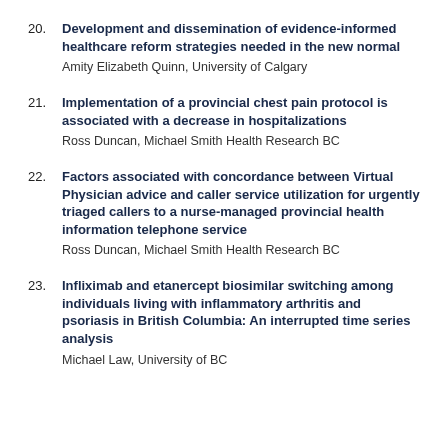20. Development and dissemination of evidence-informed healthcare reform strategies needed in the new normal
Amity Elizabeth Quinn, University of Calgary
21. Implementation of a provincial chest pain protocol is associated with a decrease in hospitalizations
Ross Duncan, Michael Smith Health Research BC
22. Factors associated with concordance between Virtual Physician advice and caller service utilization for urgently triaged callers to a nurse-managed provincial health information telephone service
Ross Duncan, Michael Smith Health Research BC
23. Infliximab and etanercept biosimilar switching among individuals living with inflammatory arthritis and psoriasis in British Columbia: An interrupted time series analysis
Michael Law, University of BC